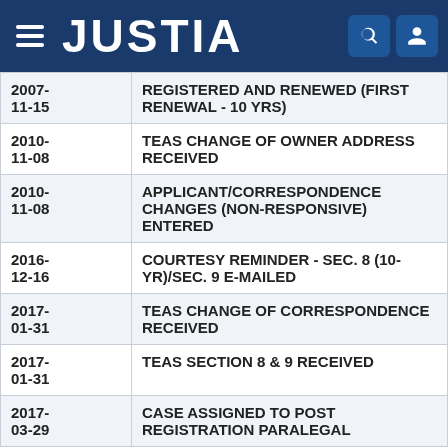JUSTIA
| Date | Event |
| --- | --- |
| 2007-11-15 | REGISTERED AND RENEWED (FIRST RENEWAL - 10 YRS) |
| 2010-11-08 | TEAS CHANGE OF OWNER ADDRESS RECEIVED |
| 2010-11-08 | APPLICANT/CORRESPONDENCE CHANGES (NON-RESPONSIVE) ENTERED |
| 2016-12-16 | COURTESY REMINDER - SEC. 8 (10-YR)/SEC. 9 E-MAILED |
| 2017-01-31 | TEAS CHANGE OF CORRESPONDENCE RECEIVED |
| 2017-01-31 | TEAS SECTION 8 & 9 RECEIVED |
| 2017-03-29 | CASE ASSIGNED TO POST REGISTRATION PARALEGAL |